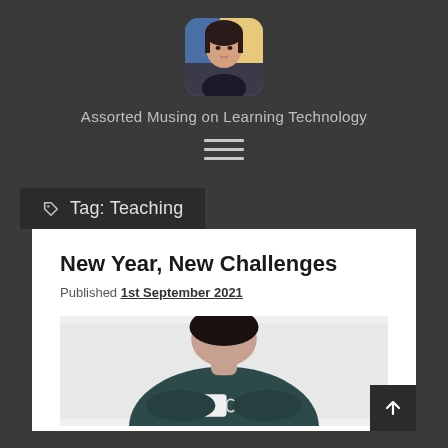[Figure (photo): Rounded square avatar photo of a woman with dark hair against a colorful background]
Assorted Musing on Learning Technology
[Figure (other): Hamburger menu icon (three horizontal lines)]
Tag: Teaching
New Year, New Challenges
Published 1st September 2021
[Figure (photo): Photo of a person in a dark sweater holding a white mug, photographed from chest level downward]